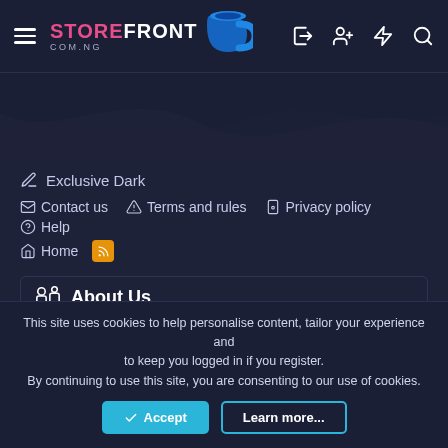STORE FRONT COM.NG — Navigation header with hamburger menu, logo, and icons
[Figure (screenshot): Dark wave decorative background section below header]
Exclusive Dark
Contact us   Terms and rules   Privacy policy   Help   Home   [RSS]
About Us
StoreFront - Technology World.
This site uses cookies to help personalise content, tailor your experience and to keep you logged in if you register. By continuing to use this site, you are consenting to our use of cookies.